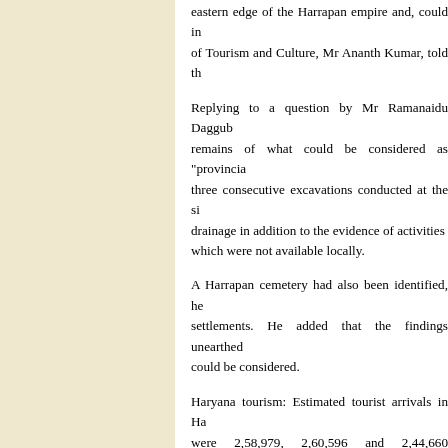eastern edge of the Harrapan empire and, could in... of Tourism and Culture, Mr Ananth Kumar, told th...
Replying to a question by Mr Ramanaidu Daggub... remains of what could be considered as "provincial... three consecutive excavations conducted at the si... drainage in addition to the evidence of activities... which were not available locally.
A Harrapan cemetery had also been identified, he... settlements. He added that the findings unearthed... could be considered.
Haryana tourism: Estimated tourist arrivals in Ha... were 2,58,979, 2,60,596 and 2,44,660 respectively... Sabha today.
He said that no state-wise estimates were mainta... Ananth Kumar said during 1999-2000, Rs 238.33... and during 2000-2001, eight projects amounting t... of tourism in Haryana.
KVs, JNVs in HP: To a question by Mr Kirpal Pa... Vidyalayas in Himachal Pradesh, the Minister of... said the centre was planning to open a JNV in eac... acres of land free of cost and suitable temporary ac...
Out of the 12 districts in the state, the JNVs had b...